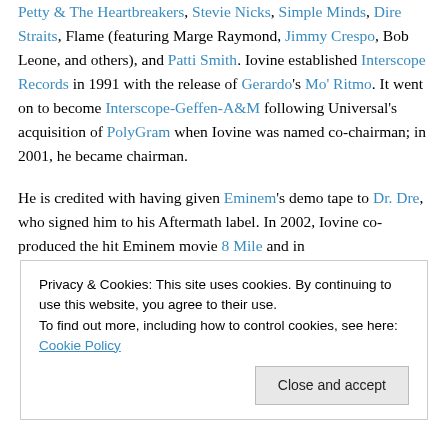Petty & The Heartbreakers, Stevie Nicks, Simple Minds, Dire Straits, Flame (featuring Marge Raymond, Jimmy Crespo, Bob Leone, and others), and Patti Smith. Iovine established Interscope Records in 1991 with the release of Gerardo's Mo' Ritmo. It went on to become Interscope-Geffen-A&M following Universal's acquisition of PolyGram when Iovine was named co-chairman; in 2001, he became chairman.
He is credited with having given Eminem's demo tape to Dr. Dre, who signed him to his Aftermath label. In 2002, Iovine co-produced the hit Eminem movie 8 Mile and in
50 Cent. In 2003, he was co-executive producer of
Privacy & Cookies: This site uses cookies. By continuing to use this website, you agree to their use. To find out more, including how to control cookies, see here: Cookie Policy